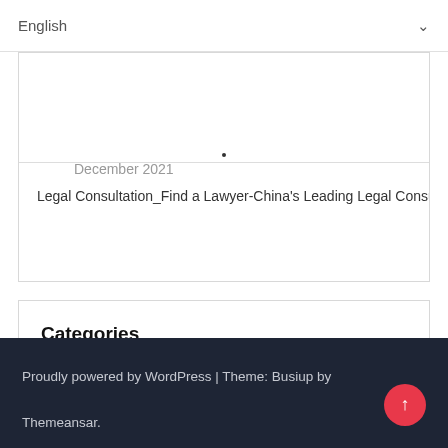English ▾
December 2021
Legal Consultation_Find a Lawyer-China's Leading Legal Consu
Categories
Uncategorized
Proudly powered by WordPress | Theme: Busiup by Themeansar.